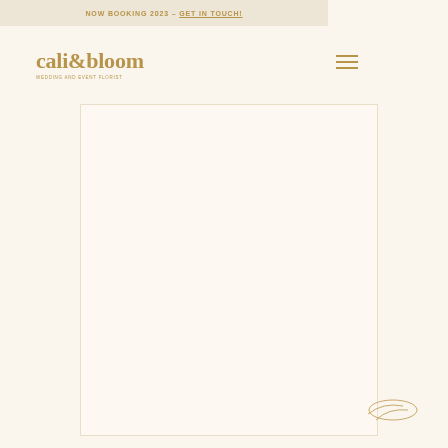NOW BOOKING 2023 – GET IN TOUCH!
[Figure (logo): cali&bloom wedding and event florist logo in golden/tan color]
[Figure (other): Hamburger menu icon with three horizontal lines in tan/gold color]
[Figure (other): Main content area - large cream/off-white rectangle, mostly blank]
[Figure (other): Small decorative element in the bottom right corner area]